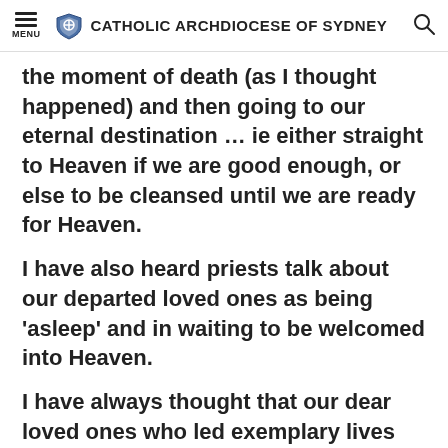MENU | CATHOLIC ARCHDIOCESE OF SYDNEY
the moment of death (as I thought happened) and then going to our eternal destination … ie either straight to Heaven if we are good enough, or else to be cleansed until we are ready for Heaven.
I have also heard priests talk about our departed loved ones as being 'asleep' and in waiting to be welcomed into Heaven.
I have always thought that our dear loved ones who led exemplary lives were